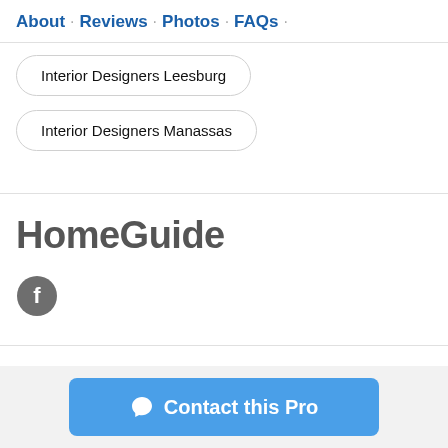About · Reviews · Photos · FAQs ·
Interior Designers Leesburg
Interior Designers Manassas
[Figure (logo): HomeGuide logo text in bold gray]
[Figure (illustration): Facebook circular icon in dark gray]
Contact this Pro